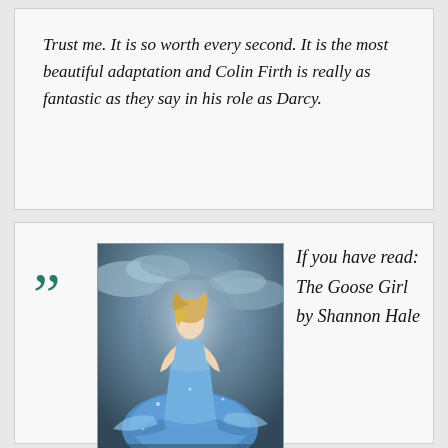Trust me. It is so worth every second. It is the most beautiful adaptation and Colin Firth is really as fantastic as they say in his role as Darcy.
[Figure (photo): Movie poster or promotional image of a woman in a blue ball gown (Cinderella) against a cloudy sky background]
If you have read: The Goose Girl by Shannon Hale